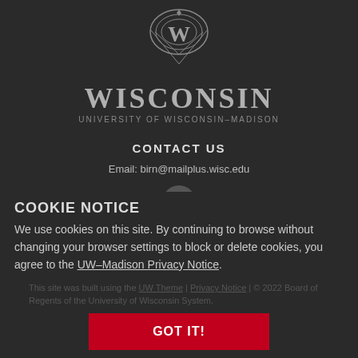[Figure (logo): University of Wisconsin-Madison crest logo with W emblem, text WISCONSIN and UNIVERSITY OF WISCONSIN-MADISON]
CONTACT US
Email: birn@mailplus.wisc.edu
[Figure (other): YouTube play button icon in circular gray button]
COOKIE NOTICE
We use cookies on this site. By continuing to browse without changing your browser settings to block or delete cookies, you agree to the UW–Madison Privacy Notice.
This site was built using the UW Theme | Privacy Notice | © 2022 Board of Regents of the University of Wisconsin System.